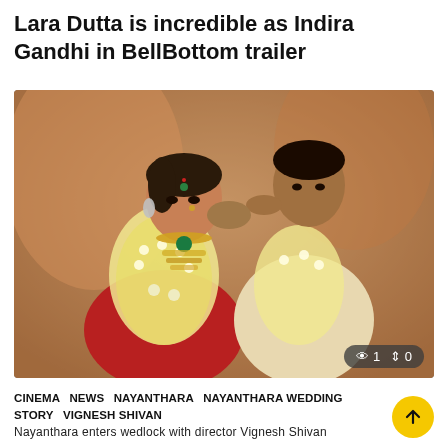Lara Dutta is incredible as Indira Gandhi in BellBottom trailer
[Figure (photo): A couple in traditional Indian wedding attire. The bride, dressed in red with heavy floral garlands and jewelry, is being kissed on the cheek by the groom in a cream kurta. The photo has a view count overlay showing 1 view and 0 upvotes.]
CINEMA  NEWS  NAYANTHARA  NAYANTHARA WEDDING  STORY  VIGNESH SHIVAN
Nayanthara enters wedlock with director Vignesh Shivan